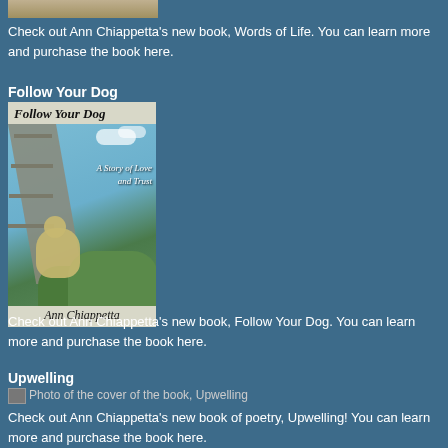[Figure (photo): Partial top image, cropped book cover photo]
Check out Ann Chiappetta's new book, Words of Life. You can learn more and purchase the book here.
Follow Your Dog
[Figure (illustration): Book cover of 'Follow Your Dog' by Ann Chiappetta, showing a dog near a dock with text 'A Story of Love and Trust']
Check out Ann Chiappetta's new book, Follow Your Dog. You can learn more and purchase the book here.
Upwelling
[Figure (photo): Broken image placeholder: Photo of the cover of the book, Upwelling]
Check out Ann Chiappetta's new book of poetry, Upwelling! You can learn more and purchase the book here.
Recent Posts
Treasuring Poetry with Patty Fletcher